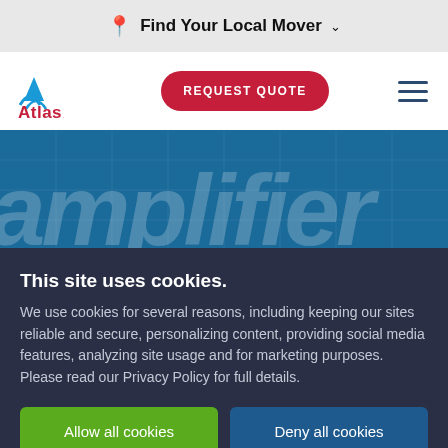Find Your Local Mover
[Figure (logo): Atlas Van Lines logo with blue mountain/wave icon and red Atlas text]
REQUEST QUOTE
[Figure (illustration): Hero banner with large italic white text reading 'amplifier' on a dark blue background]
This site uses cookies.
We use cookies for several reasons, including keeping our sites reliable and secure, personalizing content, providing social media features, analyzing site usage and for marketing purposes. Please read our Privacy Policy for full details.
Allow all cookies
Deny all cookies
Settings